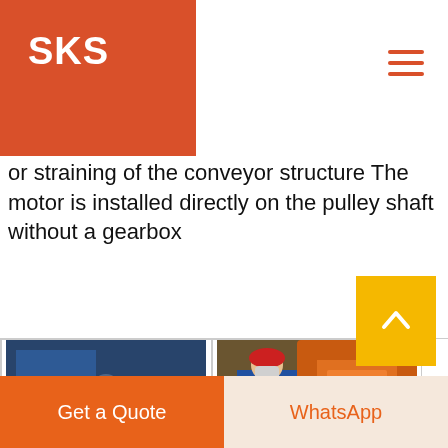SKS
or straining of the conveyor structure The motor is installed directly on the pulley shaft without a gearbox
[Figure (photo): Three men in suits standing together at an industrial exhibition or trade show]
[Figure (photo): Worker in blue overalls and red hard hat operating orange industrial machinery]
[Figure (photo): Industrial conveyor or mining equipment inside a large warehouse/factory]
Get a Quote
WhatsApp